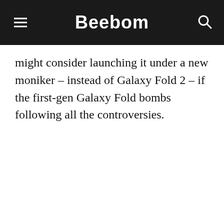Beebom
might consider launching it under a new moniker – instead of Galaxy Fold 2 – if the first-gen Galaxy Fold bombs following all the controversies.